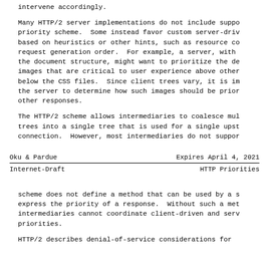intervene accordingly.

Many HTTP/2 server implementations do not include support for the priority scheme. Some instead favor custom server-driven schemes based on heuristics or other hints, such as resource content type or request generation order. For example, a server, with knowledge of the document structure, might want to prioritize the delivery of images that are critical to user experience above other images, but below the CSS files. Since client trees vary, it is impossible for the server to determine how such images should be prioritized among other responses.

The HTTP/2 scheme allows intermediaries to coalesce multiple client trees into a single tree that is used for a single upstream connection. However, most intermediaries do not support
Oku & Pardue                    Expires April 4, 2021
Internet-Draft                  HTTP Priorities
scheme does not define a method that can be used by a server to express the priority of a response. Without such a method, intermediaries cannot coordinate client-driven and server-driven priorities.

HTTP/2 describes denial-of-service considerations for